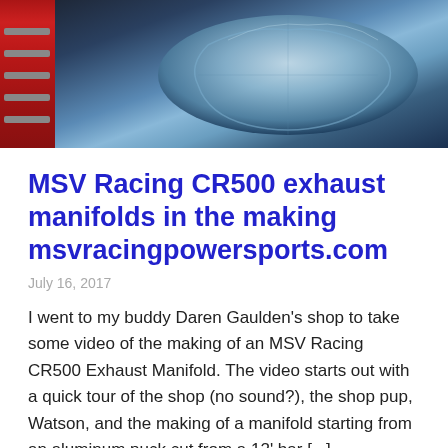[Figure (photo): Photo of a machine shop with a red tool cabinet on the left and a machined aluminum part or CNC-machined component in the center-right, with metallic blue/silver tones.]
MSV Racing CR500 exhaust manifolds in the making msvracingpowersports.com
July 16, 2017
I went to my buddy Daren Gaulden’s shop to take some video of the making of an MSV Racing CR500 Exhaust Manifold. The video starts out with a quick tour of the shop (no sound?), the shop pup, Watson, and the making of a manifold starting from an aluminum puck cut from a 12’ bar [...]
Read More